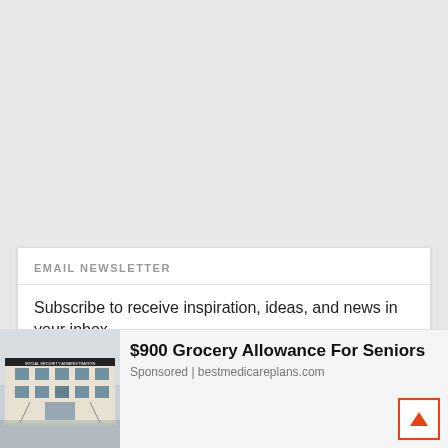[Figure (other): Gray background area at top of page]
EMAIL NEWSLETTER
Subscribe to receive inspiration, ideas, and news in your inbox
[Figure (screenshot): Advertisement banner: Social Security Administration building photo on left, '$900 Grocery Allowance For Seniors' text, 'Sponsored | bestmedicareplans.com' below, and orange Submit button on right]
$900 Grocery Allowance For Seniors
Sponsored | bestmedicareplans.com